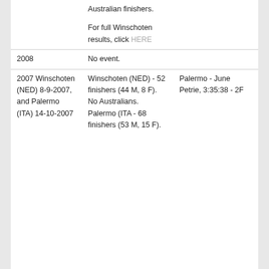|  | Australian finishers. |  |
|  | For full Winschoten results, click HERE |  |
| 2008 | No event. |  |
| 2007 Winschoten (NED) 8-9-2007, and Palermo (ITA) 14-10-2007 | Winschoten (NED) - 52 finishers (44 M, 8 F). No Australians. Palermo (ITA - 68 finishers (53 M, 15 F). | Palermo - June Petrie, 3:35:38 - 2F |